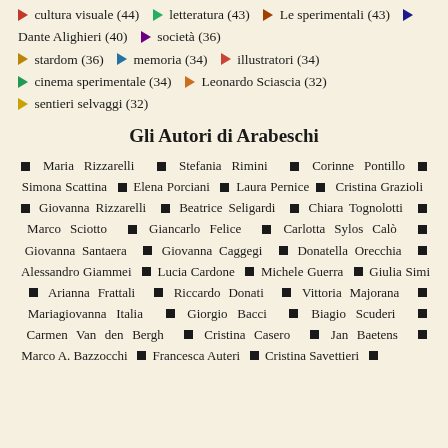► cultura visuale (44)  ► letteratura (43)  ► Le sperimentali (43)  ► Dante Alighieri (40)  ► società (36)  ► stardom (36)  ► memoria (34)  ► illustratori (34)  ► cinema sperimentale (34)  ► Leonardo Sciascia (32)  ► sentieri selvaggi (32)
Gli Autori di Arabeschi
Maria Rizzarelli ■ Stefania Rimini ■ Corinne Pontillo ■ Simona Scattina ■ Elena Porciani ■ Laura Pernice ■ Cristina Grazioli ■ Giovanna Rizzarelli ■ Beatrice Seligardi ■ Chiara Tognolotti ■ Marco Sciotto ■ Giancarlo Felice ■ Carlotta Sylos Calò ■ Giovanna Santaera ■ Giovanna Caggegi ■ Donatella Orecchia ■ Alessandro Giammei ■ Lucia Cardone ■ Michele Guerra ■ Giulia Simi ■ Arianna Frattali ■ Riccardo Donati ■ Vittoria Majorana ■ Mariagiovanna Italia ■ Giorgio Bacci ■ Biagio Scuderi ■ Carmen Van den Bergh ■ Cristina Casero ■ Jan Baetens ■ Marco A. Bazzocchi ■ Francesca Auteri ■ Cristina Savettieri ■